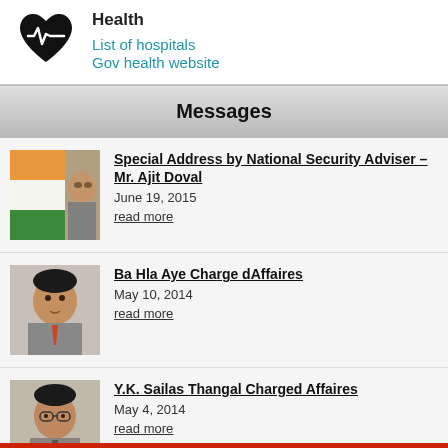Health
List of hospitals
Gov health website
Messages
Special Address by National Security Adviser – Mr. Ajit Doval
June 19, 2015
read more
Ba Hla Aye Charge dAffaires
May 10, 2014
read more
Y.K. Sailas Thangal Charged Affaires
May 4, 2014
read more